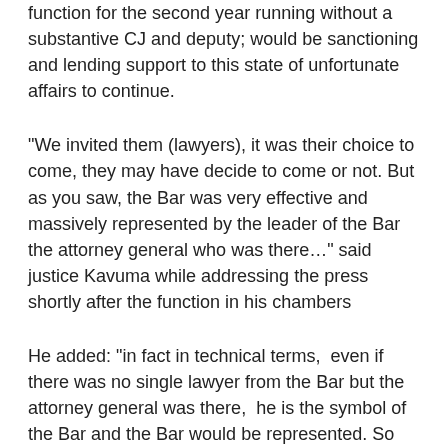function for the second year running without a substantive CJ and deputy; would be sanctioning and lending support to this state of unfortunate affairs to continue.
"We invited them (lawyers), it was their choice to come, they may have decide to come or not. But as you saw, the Bar was very effective and massively represented by the leader of the Bar the attorney general who was there…" said justice Kavuma while addressing the press shortly after the function in his chambers
He added: "in fact in technical terms,  even if there was no single lawyer from the Bar but the attorney general was there,  he is the symbol of the Bar and the Bar would be represented. So those who decided not to come for various reasons, that was their choice. But the important thing it has not had advance effect on the running of the Judiciary.."
Back at the function, the costs were mainly